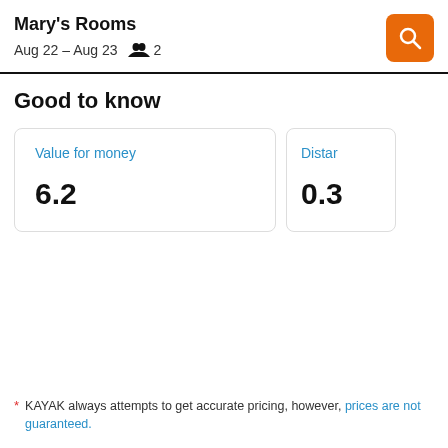Mary's Rooms
Aug 22 – Aug 23    2
Good to know
Value for money
6.2
Distar
0.3
* KAYAK always attempts to get accurate pricing, however, prices are not guaranteed.